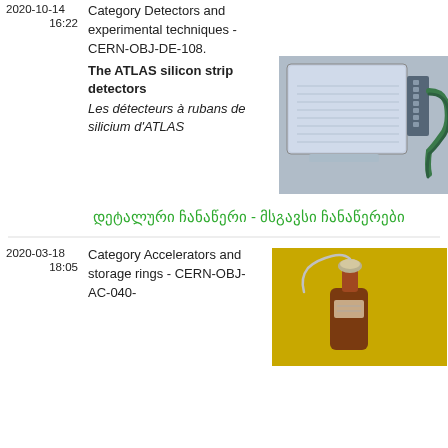2020-10-14
16:22
Category Detectors and experimental techniques - CERN-OBJ-DE-108.
The ATLAS silicon strip detectors
Les détecteurs à rubans de silicium d'ATLAS
[Figure (photo): Photo of an ATLAS silicon strip detector module, showing a flat electronic component with connectors and green ribbon cables on a grey background.]
დეტალური ჩანაწერი - მსგავსი ჩანაწერები
2020-03-18
18:05
Category Accelerators and storage rings - CERN-OBJ-AC-040-
[Figure (photo): Photo of a small glass flask/vial with a metallic cap connected to a thin wire, set against a yellow background.]